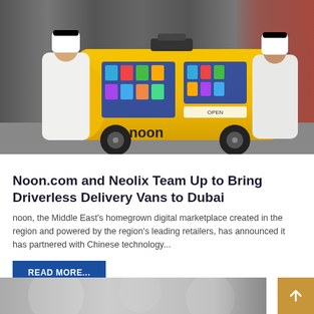[Figure (photo): Two men in traditional white Gulf dress (thobes and ghutras) standing on either side of a bright yellow autonomous delivery vehicle branded with 'noon' logo. The vehicle has display screens showing products inside. The setting appears to be an indoor event or launch.]
Noon.com and Neolix Team Up to Bring Driverless Delivery Vans to Dubai
noon, the Middle East's homegrown digital marketplace created in the region and powered by the region's leading retailers, has announced it has partnered with Chinese technology...
READ MORE...
[Figure (photo): Partially visible image at the bottom of the page, appears to be a blurred/out-of-focus photo.]